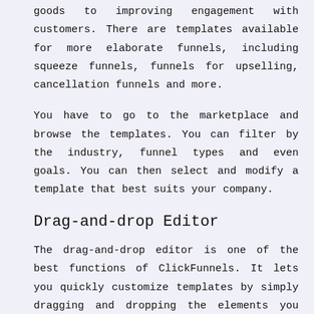goods to improving engagement with customers. There are templates available for more elaborate funnels, including squeeze funnels, funnels for upselling, cancellation funnels and more.
You have to go to the marketplace and browse the templates. You can filter by the industry, funnel types and even goals. You can then select and modify a template that best suits your company.
Drag-and-drop Editor
The drag-and-drop editor is one of the best functions of ClickFunnels. It lets you quickly customize templates by simply dragging and dropping the elements you wish to appear on your website.
It's easy to can have an entire sales funnel that includes several pages in no time.
The successful